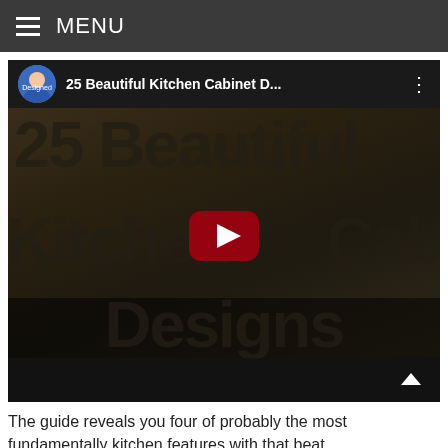≡ MENU
[Figure (screenshot): YouTube video thumbnail/player showing '25 Beautiful Kitchen Cabinet D...' with a play button overlay. The video title '25 Beautiful Kitchen Cabinet Designs' is shown in large text over a dark kitchen background. A circular avatar of a man in a blue shirt is shown in the top bar.]
The guide reveals you four of probably the most fundamentally kitchen features with that beat